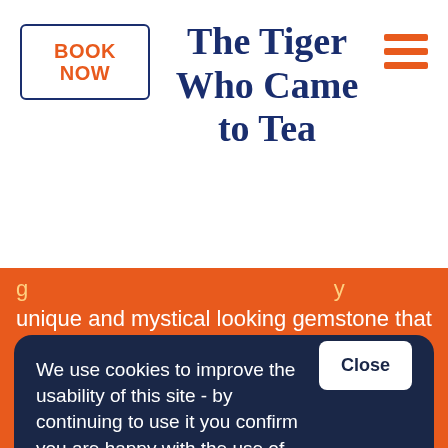BOOK NOW
The Tiger Who Came to Tea
unique and mystical looking gemstone that resembles a feline’s eye. Its colour ranges from light to dark brown with shimmering bands of golden highlights and its refraction of light creates a stunning gleaming effect. As a metamorphic rock,
We use cookies to improve the usability of this site - by continuing to use it you confirm you are happy with the use of cookies. For more information, please see our Privacy Policy.
Close
with it – and there are plenty.